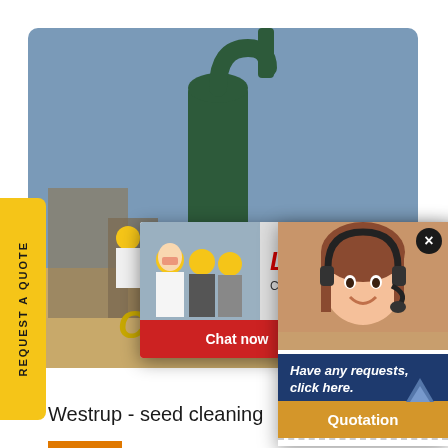[Figure (screenshot): Industrial equipment photograph showing large green cylindrical machine/cyclone separator with workers in yellow hard hats at a construction/plant site. Overlaid with a Live Chat popup widget showing two buttons: Chat now (red) and Chat later (dark gray). Also shows a right-side customer service popup with a woman wearing a headset, text: Have any requests, click here. Quotation button. Yellow REQUEST A QUOTE sidebar tab on left. C&M M text at bottom of photo. Below photo: Westrup - seed cleaning text.]